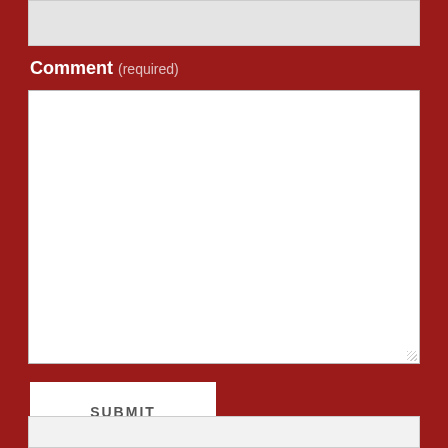[Figure (screenshot): Top portion of a text input field (partially visible, gray background)]
Comment (required)
[Figure (screenshot): Large textarea for comment input, white background with resize handle]
[Figure (screenshot): SUBMIT button, white background with dark gray uppercase text]
Follow me on Twitter
[Figure (screenshot): Partially visible Twitter widget box at the bottom]